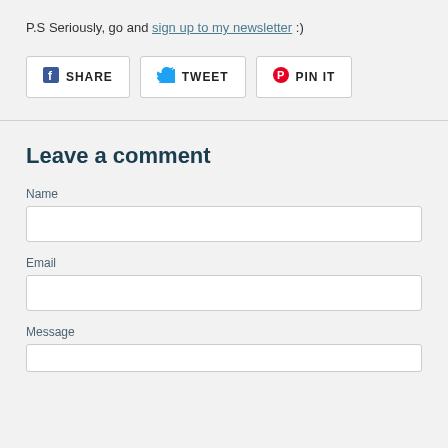P.S Seriously, go and sign up to my newsletter :)
[Figure (other): Social share buttons: Facebook SHARE, Twitter TWEET, Pinterest PIN IT]
Leave a comment
Name
Email
Message